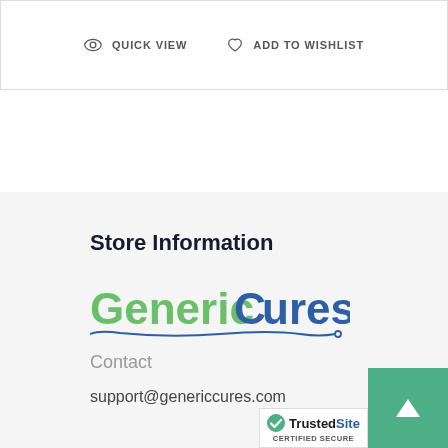QUICK VIEW  ADD TO WISHLIST
Store Information
[Figure (logo): GenericCures logo with green 'Generic' text and blue 'Cures' text, with a stethoscope underline graphic]
Contact
support@genericcures.com
[Figure (logo): TrustedSite Certified Secure badge with green checkmark]